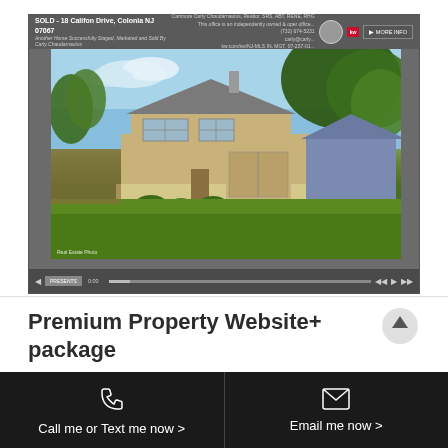[Figure (screenshot): Screenshot of a real estate property website player showing a sold home at 18 Califon Drive, Colonia NJ 07067, with a large color photo of a tan/beige split-level house with green lawn, trees, and a garage. The player has KW branding, agent photo, MORE INFO button, and video controls at the bottom.]
Premium Property Website+ package
Call me or Text me now >
Email me now >